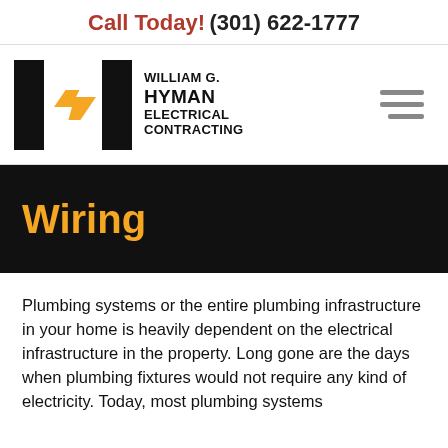Call Today! (301) 622-1777
[Figure (logo): William G. Hyman Electrical Contracting logo with stylized H and lightning bolt in orange and black]
Wiring
Plumbing systems or the entire plumbing infrastructure in your home is heavily dependent on the electrical infrastructure in the property. Long gone are the days when plumbing fixtures would not require any kind of electricity. Today, most plumbing systems